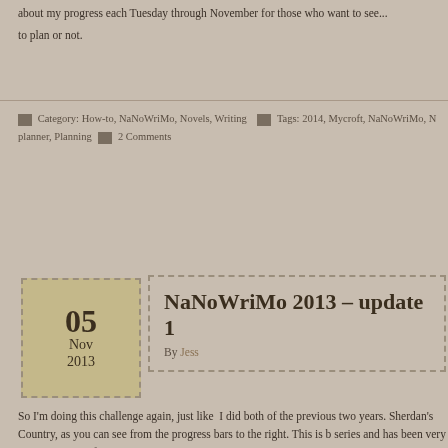about my progress each Tuesday through November for those who want to see... to plan or not.
Category: How-to, NaNoWriMo, Novels, Writing  Tags: 2014, Mycroft, NaNoWriMo, N planner, Planning  2 Comments
NaNoWriMo 2013 – update 1
By Jess
So I'm doing this challenge again, just like  I did both of the previous two years. Sherdan's Country, as you can see from the progress bars to the right. This is b series and has been very easy to write so far.
I'm at 19k as of now and still going fairly strong. I've slowed a little, but I think it I'm writing a chapter I've not plotted at all at the moment. I only realised I neede evening as I was going to bed.
So far there's been a few surprises for me, especially on Anya's side of events. impulse a lot and it's proving quite interesting to write.
Sherdan is the one I'm most proud of. Since Sherdan's Prophecy he's grown a